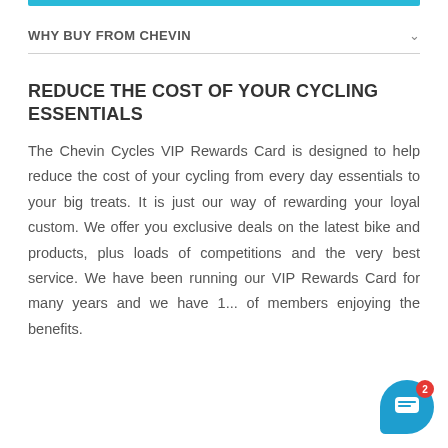WHY BUY FROM CHEVIN
REDUCE THE COST OF YOUR CYCLING ESSENTIALS
The Chevin Cycles VIP Rewards Card is designed to help reduce the cost of your cycling from every day essentials to your big treats. It is just our way of rewarding your loyal custom. We offer you exclusive deals on the latest bike and products, plus loads of competitions and the very best service. We have been running our VIP Rewards Card for many years and we have 1... of members enjoying the benefits.